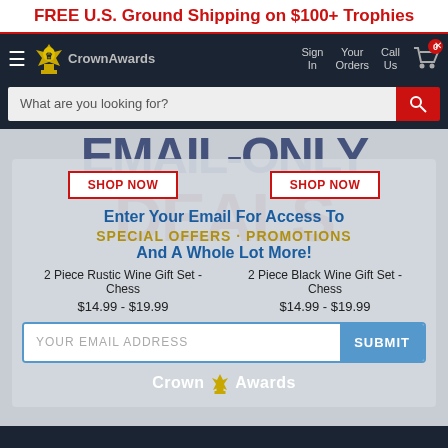FREE U.S. Ground Shipping on $100+ Trophies
[Figure (screenshot): Crown Awards website navigation bar with logo, Sign In, Your Orders, Call Us, and cart icon with 0 badge]
[Figure (screenshot): Search bar with placeholder 'What are you looking for?' and red search button]
[Figure (screenshot): Email-only deals overlay popup on website showing EMAIL-ONLY DEALS watermark text, two product cards (2 Piece Rustic Wine Gift Set - Chess $14.99-$19.99 and 2 Piece Black Wine Gift Set - Chess $14.99-$19.99), email signup form with SUBMIT button, and Crown Awards logo]
EMAIL-ONLY
DEALS
SHOP NOW
SHOP NOW
Enter Your Email For Access To
SPECIAL OFFERS · PROMOTIONS
And A Whole Lot More!
2 Piece Rustic Wine Gift Set - Chess
$14.99 - $19.99
2 Piece Black Wine Gift Set - Chess
$14.99 - $19.99
YOUR EMAIL ADDRESS
SUBMIT
Crown Awards